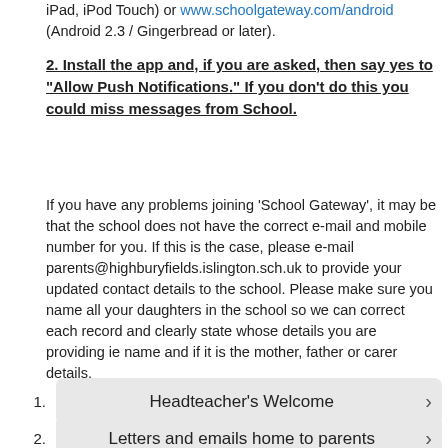iPad, iPod Touch) or www.schoolgateway.com/android (Android 2.3 / Gingerbread or later).
2. Install the app and, if you are asked, then say yes to "Allow Push Notifications." If you don't do this you could miss messages from School.
If you have any problems joining 'School Gateway', it may be that the school does not have the correct e-mail and mobile number for you. If this is the case, please e-mail parents@highburyfields.islington.sch.uk to provide your updated contact details to the school. Please make sure you name all your daughters in the school so we can correct each record and clearly state whose details you are providing ie name and if it is the mother, father or carer details.
Back
1. Headteacher's Welcome
2. Letters and emails home to parents